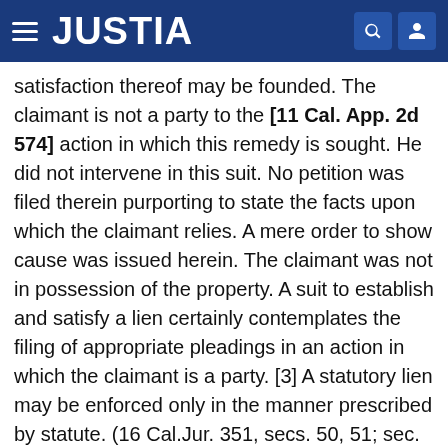JUSTIA
satisfaction thereof may be founded. The claimant is not a party to the [11 Cal. App. 2d 574] action in which this remedy is sought. He did not intervene in this suit. No petition was filed therein purporting to state the facts upon which the claimant relies. A mere order to show cause was issued herein. The claimant was not in possession of the property. A suit to establish and satisfy a lien certainly contemplates the filing of appropriate pleadings in an action in which the claimant is a party. [3] A statutory lien may be enforced only in the manner prescribed by statute. (16 Cal.Jur. 351, secs. 50, 51; sec. 3052, Civ. Code; Peerless Insurance & Brokerage Co. v. Dwyer Equipment Co., 78 Cal. App. 141 [248 P. 303].) We assume that the claimant in this proceeding relies on an equitable lien created by express agreement. It is said in 16 California Jurisprudence, page 308, section 19, that: